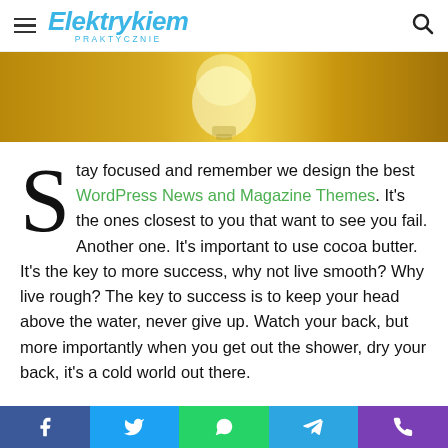Elektrykiem PRAKTYCZNIE
[Figure (photo): Hero banner with a yellow/golden background and a glass light bulb in the center]
Stay focused and remember we design the best WordPress News and Magazine Themes. It's the ones closest to you that want to see you fail. Another one. It's important to use cocoa butter. It's the key to more success, why not live smooth? Why live rough? The key to success is to keep your head above the water, never give up. Watch your back, but more importantly when you get out the shower, dry your back, it's a cold world out there.
Don't wait. The time will never be just
[Figure (infographic): Social media share bar with Facebook, Twitter, WhatsApp, Telegram, and phone icons]